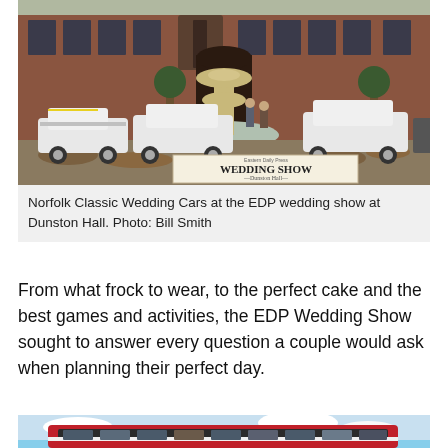[Figure (photo): Classic white wedding cars parked in front of a grand red brick manor house with a large stone fountain in the centre. A banner reads 'Eastern Daily Press WEDDING SHOW – Dunston Hall –'. Several people stand near the fountain.]
Norfolk Classic Wedding Cars at the EDP wedding show at Dunston Hall. Photo: Bill Smith
From what frock to wear, to the perfect cake and the best games and activities, the EDP Wedding Show sought to answer every question a couple would ask when planning their perfect day.
[Figure (photo): Close-up of the top of a red double-decker bus against a blue sky with white clouds.]